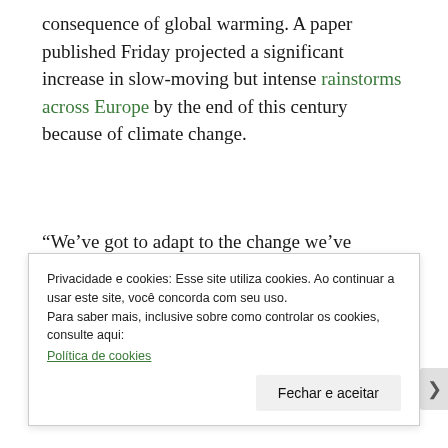consequence of global warming. A paper published Friday projected a significant increase in slow-moving but intense rainstorms across Europe by the end of this century because of climate change.
“We’ve got to adapt to the change we’ve already baked into the system and also avoid further change by reducing our emissions, by reducing our influence on the climate,” said Richard Betts, a climate scientist at the Met Office in
Privacidade e cookies: Esse site utiliza cookies. Ao continuar a usar este site, você concorda com seu uso.
Para saber mais, inclusive sobre como controlar os cookies, consulte aqui:
Política de cookies
Fechar e aceitar